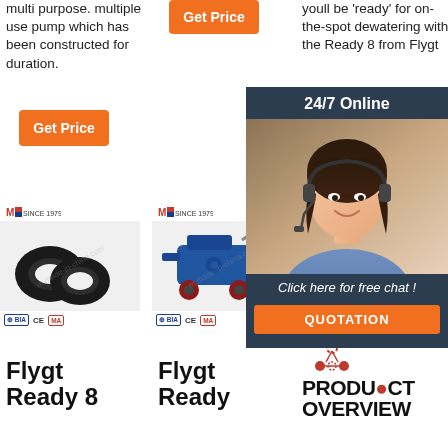multi purpose. multiple use pump which has been constructed for duration.
youll be 'ready' for on-the-spot dewatering with the Ready 8 from Flygt
Get Price
Get Price
G
24/7 Online
Click here for free chat !
QUOTATION
[Figure (photo): Two black circular rubber seals/gaskets for Flygt Ready 8 pump]
[Figure (photo): Blue industrial pump/compressor on wheels - Flygt Ready model]
[Figure (photo): Industrial pump product partially visible, overlaid by chat widget]
[Figure (photo): Customer service representative woman with headset - chat overlay photo]
Flygt Ready 8
Flygt Ready
PRODUCT OVERVIEW